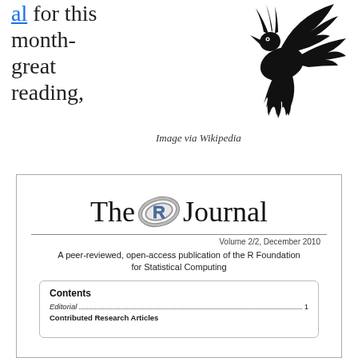al for this month- great reading,
[Figure (illustration): Black silhouette of a phoenix bird rising with wings spread and flames at the base]
Image via Wikipedia
[Figure (screenshot): Cover of The R Journal, Volume 2/2, December 2010. Shows The R Journal title with R logo, tagline 'A peer-reviewed, open-access publication of the R Foundation for Statistical Computing', and partial Contents box listing Editorial on page 1 and Contributed Research Articles.]